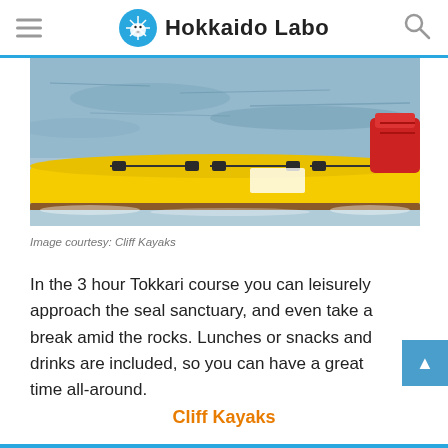Hokkaido Labo
[Figure (photo): Close-up of a yellow sea kayak on water, with black deck rigging straps, and a person in a red life vest partially visible on the right side]
Image courtesy: Cliff Kayaks
In the 3 hour Tokkari course you can leisurely approach the seal sanctuary, and even take a break amid the rocks. Lunches or snacks and drinks are included, so you can have a great time all-around.
Cliff Kayaks